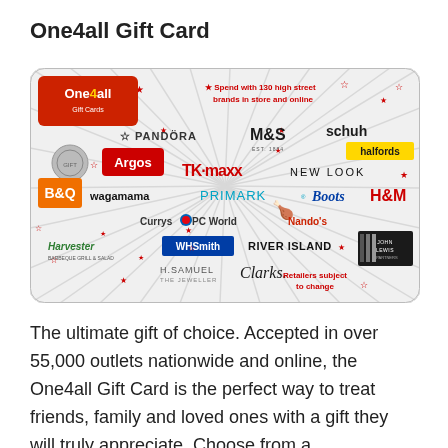One4all Gift Card
[Figure (illustration): One4all Gift Card product image showing logos of partner brands including M&S, schuh, PANDORA, halfords, Argos, TK Maxx, NEW LOOK, B&Q, wagamama, PRIMARK, Boots, H&M, Currys PC World, Nando's, Harvester, WHSmith, RIVER ISLAND, John Lewis & Partners, H.Samuel The Jeweller, Clarks. Red text states 'Spend with 130 high street brands in store and online'. Bottom right says 'Retailers subject to change'.]
The ultimate gift of choice. Accepted in over 55,000 outlets nationwide and online, the One4all Gift Card is the perfect way to treat friends, family and loved ones with a gift they will truly appreciate. Choose from a